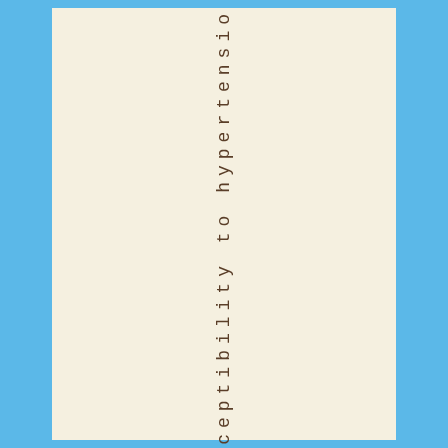ssusceptibility to hypertensio